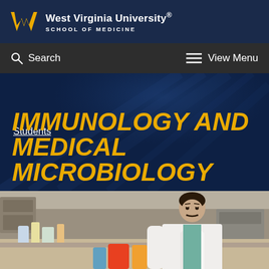[Figure (logo): West Virginia University School of Medicine logo with Flying WV and university wordmark in white on dark navy background]
Search | View Menu
Students
IMMUNOLOGY AND MEDICAL MICROBIOLOGY
[Figure (photo): A student or researcher in a white lab coat working at a laboratory bench with various lab equipment, bottles, and supplies in the background]